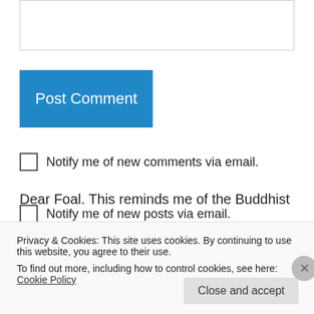[Figure (screenshot): Textarea input box for comment]
Post Comment
Notify me of new comments via email.
Notify me of new posts via email.
mpardi2013 on January 30, 2014 at 6:37 pm
Dear Foal. This reminds me of the Buddhist
Privacy & Cookies: This site uses cookies. By continuing to use this website, you agree to their use.
To find out more, including how to control cookies, see here: Cookie Policy
Close and accept